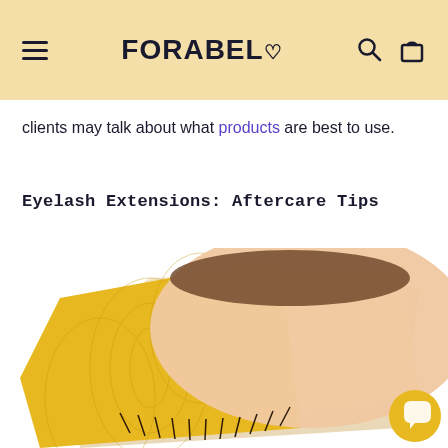FORABELI
clients may talk about what products are best to use.
Eyelash Extensions: Aftercare Tips
[Figure (photo): Close-up photo of a woman's eye with eyelash extensions, overlaid on decorative yellow patterned card and beige card. The eye shows dark extended lashes and fair skin. A golden chat bubble icon is visible in the lower right.]